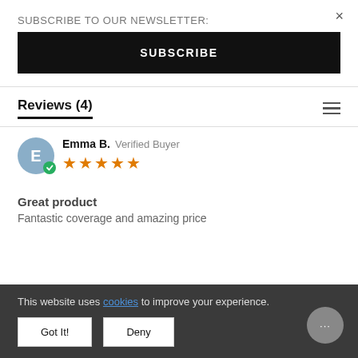SUBSCRIBE TO OUR NEWSLETTER:
SUBSCRIBE
Reviews (4)
Emma B. Verified Buyer
★★★★★
Great product
Fantastic coverage and amazing price
This website uses cookies to improve your experience.
Got It!
Deny